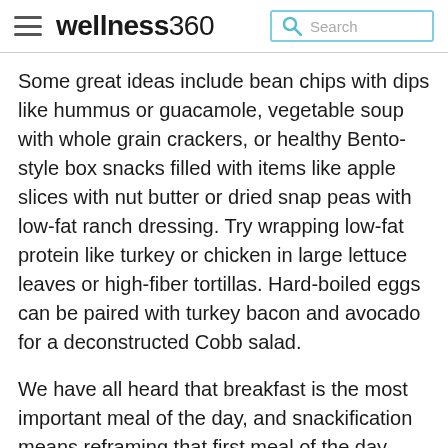wellness360 Search
Some great ideas include bean chips with dips like hummus or guacamole, vegetable soup with whole grain crackers, or healthy Bento-style box snacks filled with items like apple slices with nut butter or dried snap peas with low-fat ranch dressing. Try wrapping low-fat protein like turkey or chicken in large lettuce leaves or high-fiber tortillas. Hard-boiled eggs can be paired with turkey bacon and avocado for a deconstructed Cobb salad.
We have all heard that breakfast is the most important meal of the day, and snackification means reframing that first meal of the day. Many people have less time to devote to their day to prepare a healthy breakfast for themselves and their families.